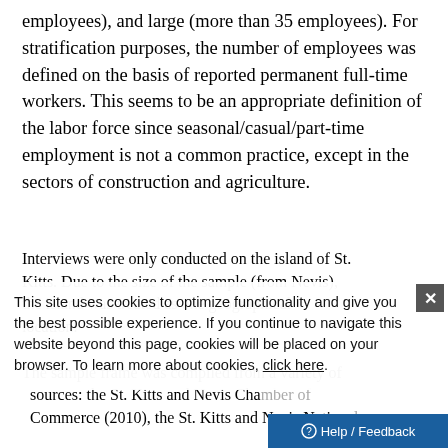employees), and large (more than 35 employees). For stratification purposes, the number of employees was defined on the basis of reported permanent full-time workers. This seems to be an appropriate definition of the labor force since seasonal/casual/part-time employment is not a common practice, except in the sectors of construction and agriculture.
Interviews were only conducted on the island of St. Kitts. Due to the size of the sample (from Nevis), the island was treated as one geographical location.
This site uses cookies to optimize functionality and give you the best possible experience. If you continue to navigate this website beyond this page, cookies will be placed on your browser. To learn more about cookies, click here.
The sample frame was compiled from a variety of sources: the St. Kitts and Nevis Chamber of Commerce (2010), the St. Kitts and Nevis National...